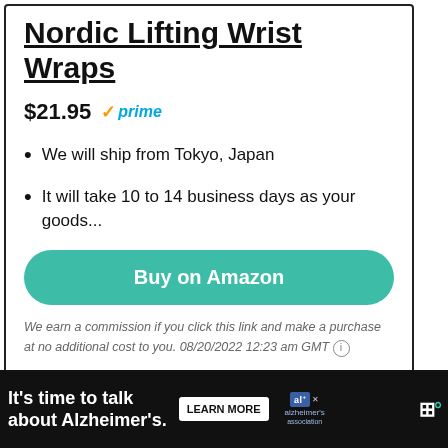Nordic Lifting Wrist Wraps
$21.95  ✓prime
We will ship from Tokyo, Japan
It will take 10 to 14 business days as your goods...
[Figure (screenshot): Buy on Amazon teal button]
We earn a commission if you click this link and make a purchase at no additional cost to you. 08/20/2022 12:23 am GMT ⓘ
[Figure (infographic): Bottom ad bar: It's time to talk about Alzheimer's. LEARN MORE. Alzheimer's association logo. Wordmark logo.]